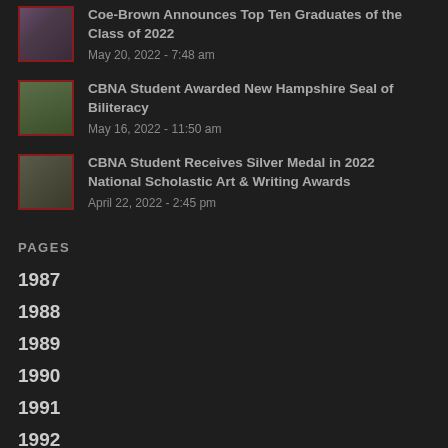[Figure (photo): Small thumbnail photo of graduates]
Coe-Brown Announces Top Ten Graduates of the Class of 2022
May 20, 2022 - 7:48 am
[Figure (photo): Small thumbnail photo of student]
CBNA Student Awarded New Hampshire Seal of Biliteracy
May 16, 2022 - 11:50 am
[Figure (photo): Small thumbnail photo of student outdoors]
CBNA Student Receives Silver Medal in 2022 National Scholastic Art & Writing Awards
April 22, 2022 - 2:45 pm
PAGES
1987
1988
1989
1990
1991
1992
1993